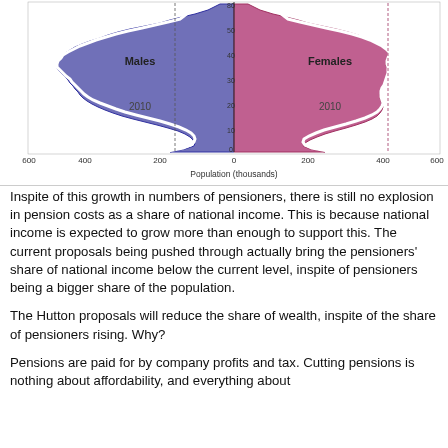[Figure (other): Population pyramid showing age distribution for Males (blue/purple) and Females (pink) in 2010. X-axis shows Population (thousands) from 600 on each side to 0 in center. Y-axis shows age from 0 to 80+.]
Inspite of this growth in numbers of pensioners, there is still no explosion in pension costs as a share of national income. This is because national income is expected to grow more than enough to support this. The current proposals being pushed through actually bring the pensioners' share of national income below the current level, inspite of pensioners being a bigger share of the population.
The Hutton proposals will reduce the share of wealth, inspite of the share of pensioners rising. Why?
Pensions are paid for by company profits and tax. Cutting pensions is nothing about affordability, and everything about